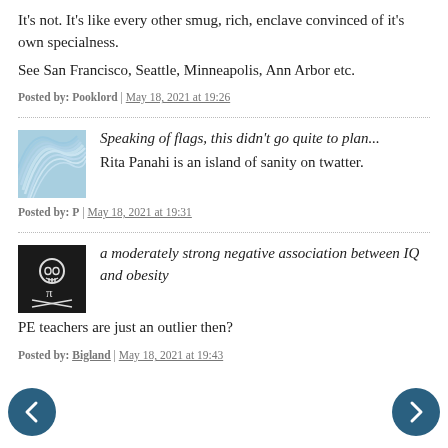It's not. It's like every other smug, rich, enclave convinced of it's own specialness.
See San Francisco, Seattle, Minneapolis, Ann Arbor etc.
Posted by: Pooklord | May 18, 2021 at 19:26
Speaking of flags, this didn't go quite to plan...
Rita Panahi is an island of sanity on twatter.
Posted by: P | May 18, 2021 at 19:31
a moderately strong negative association between IQ and obesity
PE teachers are just an outlier then?
Posted by: Bigland | May 18, 2021 at 19:43